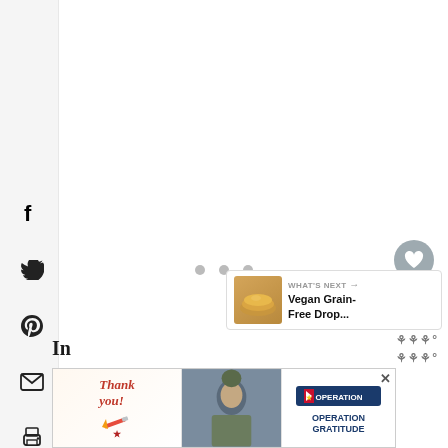[Figure (screenshot): Social media sharing sidebar with Facebook, Twitter, Pinterest, Email, Print, and Reddit icons on the left side of a webpage]
[Figure (infographic): Three loading dots centered in main content area]
[Figure (infographic): Floating heart (favorite) button and share button on right side]
[Figure (infographic): What's Next panel showing Vegan Grain-Free Drop... with a biscuit thumbnail image]
WHAT'S NEXT → Vegan Grain-Free Drop...
[Figure (screenshot): Advertisement banner: Operation Gratitude - Thank you with military imagery and close button]